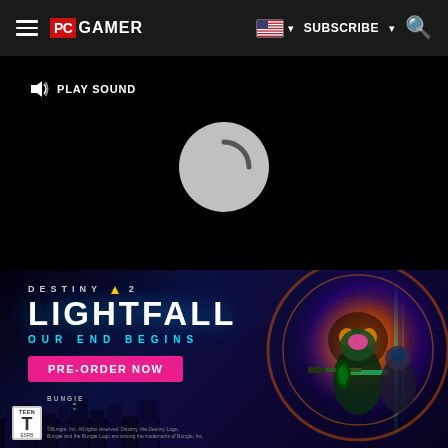PC GAMER — Navigation bar with hamburger menu, PC Gamer logo, US flag, SUBSCRIBE, and search icon
[Figure (screenshot): Video player showing a loading state with a circular spinner in the center and a 'PLAY SOUND' button in the upper left. Progress bar below. Controls show muted speaker, 00:00 / 03:59 timestamp, CC button, grid button, and fullscreen button.]
[Figure (photo): Destiny 2 Lightfall advertisement banner with dark sci-fi background, game title 'DESTINY 2 LIGHTFALL', tagline 'OUR END BEGINS', pink 'PRE-ORDER NOW' button, ESRB Teen rating badge, and game characters with weapons on the right.]